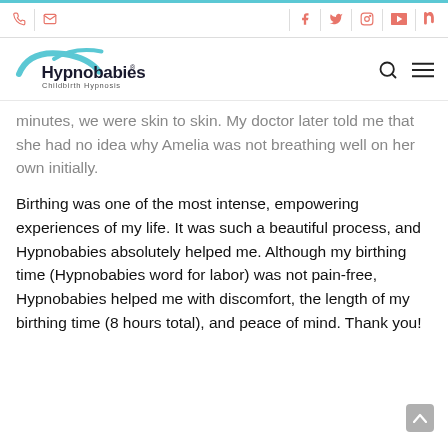[Toolbar with phone, email, facebook, twitter, instagram, youtube, tiktok icons]
[Figure (logo): Hypnobabies Childbirth Hypnosis logo with teal swoosh and search/menu icons]
minutes, we were skin to skin. My doctor later told me that she had no idea why Amelia was not breathing well on her own initially.
Birthing was one of the most intense, empowering experiences of my life. It was such a beautiful process, and Hypnobabies absolutely helped me. Although my birthing time (Hypnobabies word for labor) was not pain-free, Hypnobabies helped me with discomfort, the length of my birthing time (8 hours total), and peace of mind. Thank you!